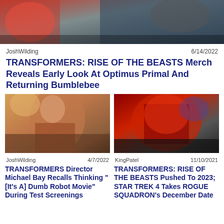[Figure (photo): Blurred dark action scene banner image at top]
JoshWilding    6/14/2022
TRANSFORMERS: RISE OF THE BEASTS Merch Reveals Early Look At Optimus Primal And Returning Bumblebee
[Figure (photo): Woman in orange top posing outdoors in sandy/golden setting]
JoshWilding    4/7/2022
TRANSFORMERS Director Michael Bay Recalls Thinking "[It's A] Dumb Robot Movie" During Test Screenings
[Figure (photo): Red Transformer robot (Optimus Prime) in battle pose]
KingPatel    11/10/2021
TRANSFORMERS: RISE OF THE BEASTS Pushed To 2023; STAR TREK 4 Takes ROGUE SQUADRON's December Date